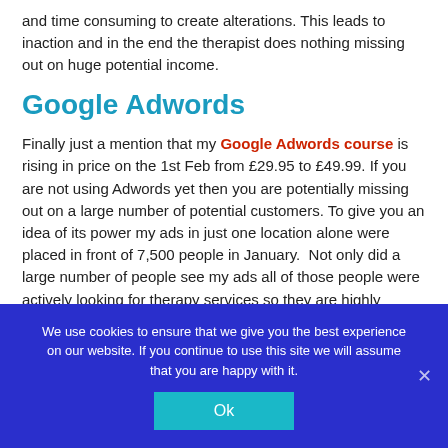and time consuming to create alterations. This leads to inaction and in the end the therapist does nothing missing out on huge potential income.
Google Adwords
Finally just a mention that my Google Adwords course is rising in price on the 1st Feb from £29.95 to £49.99. If you are not using Adwords yet then you are potentially missing out on a large number of potential customers. To give you an idea of its power my ads in just one location alone were placed in front of 7,500 people in January.  Not only did a large number of people see my ads all of those people were actively looking for therapy services so they are highly
We use cookies to ensure that we give you the best experience on our website. If you continue to use this site we will assume that you are happy with it.